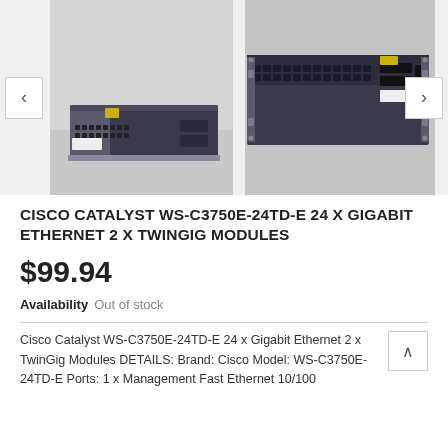[Figure (photo): Two views of a Cisco Catalyst WS-C3750E-24TD-E network switch. Left image shows the switch from the front-side angle; right image shows a closer view of the front panel with ports visible.]
CISCO CATALYST WS-C3750E-24TD-E 24 X GIGABIT ETHERNET 2 X TWINGIG MODULES
$99.94
Availability  Out of stock
Cisco Catalyst WS-C3750E-24TD-E 24 x Gigabit Ethernet 2 x TwinGig Modules DETAILS: Brand: Cisco Model: WS-C3750E-24TD-E Ports: 1 x Management Fast Ethernet 10/100